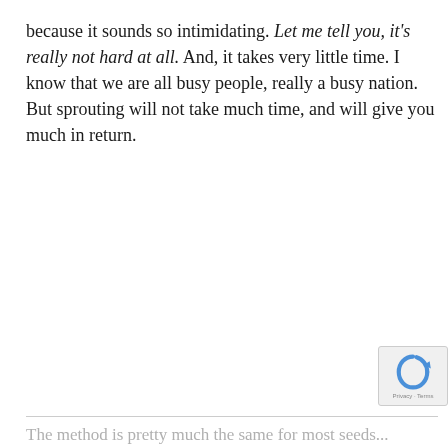because it sounds so intimidating. Let me tell you, it's really not hard at all. And, it takes very little time. I know that we are all busy people, really a busy nation. But sprouting will not take much time, and will give you much in return.
The method is pretty much the same for most seeds...